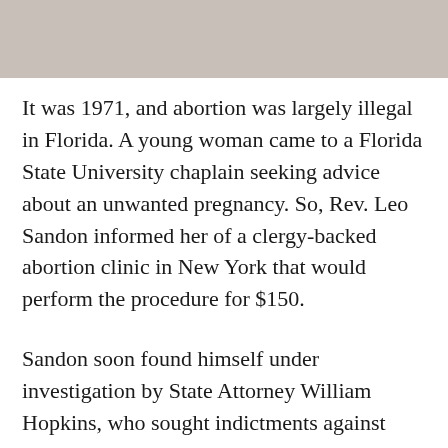[Figure (photo): A photograph or image at the top of the page, shown as a light taupe/beige rectangular area.]
It was 1971, and abortion was largely illegal in Florida. A young woman came to a Florida State University chaplain seeking advice about an unwanted pregnancy. So, Rev. Leo Sandon informed her of a clergy-backed abortion clinic in New York that would perform the procedure for $150.
Sandon soon found himself under investigation by State Attorney William Hopkins, who sought indictments against Sandon and Rev. Charles N. Landreth, an assistant minister at a Tallahassee Presbyterian church. Sandon and Landreth were part of a group called the National Clergy Consultation